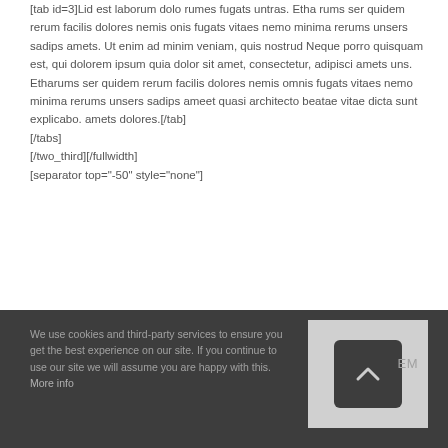[tab id=3]Lid est laborum dolo rumes fugats untras. Etha rums ser quidem rerum facilis dolores nemis onis fugats vitaes nemo minima rerums unsers sadips amets. Ut enim ad minim veniam, quis nostrud Neque porro quisquam est, qui dolorem ipsum quia dolor sit amet, consectetur, adipisci amets uns.  Etharums ser quidem rerum facilis dolores nemis omnis fugats vitaes nemo minima rerums unsers sadips ameet quasi architecto beatae vitae dicta sunt explicabo. amets dolores.[/tab]
[/tabs]
[/two_third][/fullwidth]
[separator top="-50" style="none"]
We use cookies and third-party services to ensure you get the best experience on our site. If you continue to use our site we will assume you are happy with this. More info